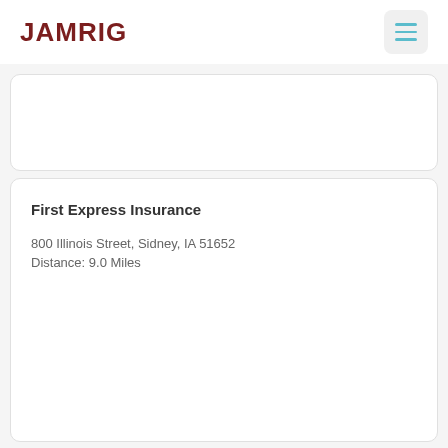JAMRIG
First Express Insurance
800 Illinois Street, Sidney, IA 51652
Distance: 9.0 Miles